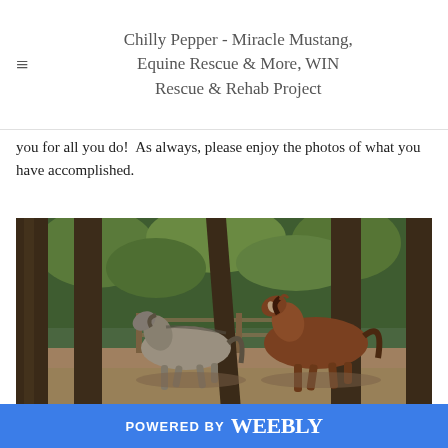Chilly Pepper - Miracle Mustang, Equine Rescue & More, WIN Rescue & Rehab Project
you for all you do!  As always, please enjoy the photos of what you have accomplished.
[Figure (photo): Two horses running in a fenced outdoor area surrounded by tall trees. One horse is gray/roan and one is brown/chestnut.]
POWERED BY weebly